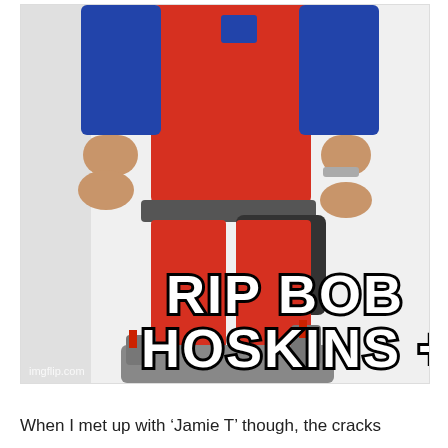[Figure (photo): A toy action figure (resembling Bob Hoskins/Mario character) in red overalls with blue sleeves, tool belt, and sci-fi boots/accessories, photographed against a white background. Overlaid meme text reads 'RIP BOB HOSKINS +5'. Watermark 'imgflip.com' in bottom-left corner.]
When I met up with ‘Jamie T’ though, the cracks